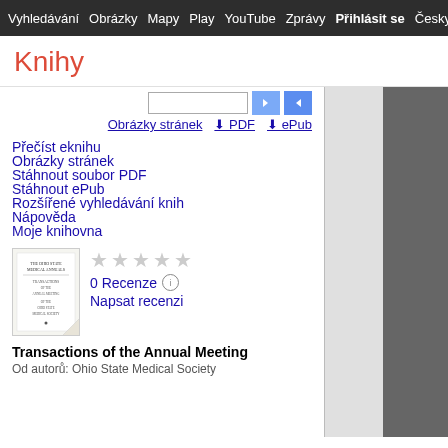Vyhledávání  Obrázky  Mapy  Play  YouTube  Zprávy  Přihlásit se  Česky  Da
Knihy
Přečíst eknihu
Obrázky stránek
Stáhnout soubor PDF
Stáhnout ePub
Rozšířené vyhledávání knih
Nápověda
Moje knihovna
[Figure (screenshot): Book cover thumbnail for Transactions of the Annual Meeting]
0 Recenze
Napsat recenzi
Transactions of the Annual Meeting
Od autorů: Ohio State Medical Society